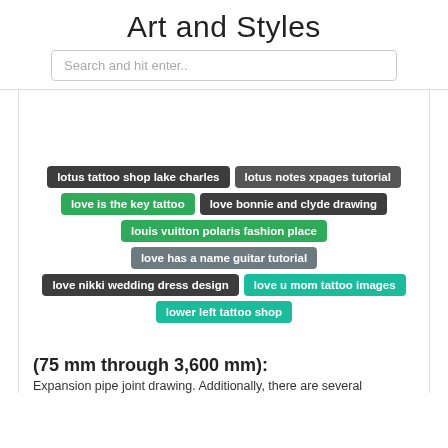Art and Styles
Search and hit enter..
[Figure (other): Advertisement banner area (blank white space)]
lotus tattoo shop lake charles
lotus notes xpages tutorial
love is the key tattoo
love bonnie and clyde drawing
louis vuitton polaris fashion place
love has a name guitar tutorial
love nikki wedding dress design
love u mom tattoo images
lower left tattoo shop
(75 mm through 3,600 mm):
Expansion pipe joint drawing. Additionally, there are several